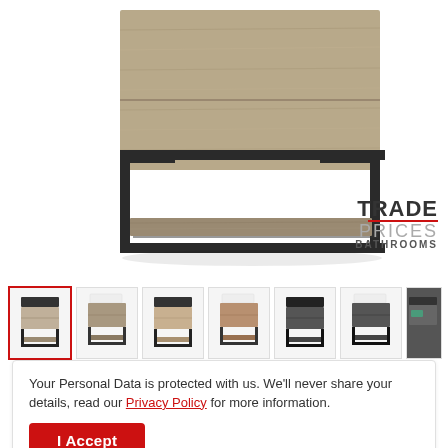[Figure (photo): Close-up product photo of a modern bathroom vanity unit with grey/beige wood-grain drawer front and black metal frame with open shelf underneath, on white background.]
[Figure (logo): Trade Prices Bathrooms logo with red underline accent, grey text.]
[Figure (photo): Row of 7 thumbnail variant images of bathroom vanity units in different finishes: light grey oak (selected, red border), medium grey oak, light oak, tan/brown oak, dark charcoal, dark charcoal with white basin, and a partially visible dark image.]
Your Personal Data is protected with us. We'll never share your details, read our Privacy Policy for more information.
I Accept